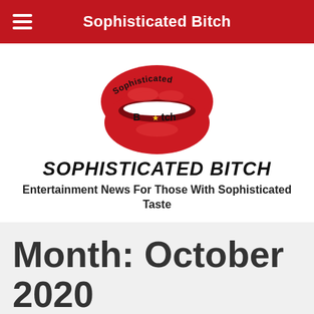Sophisticated Bitch
[Figure (logo): Red lips logo with 'Sophisticated Bitch' text arched over and on the lips]
SOPHISTICATED BITCH
Entertainment News For Those With Sophisticated Taste
Month: October 2020